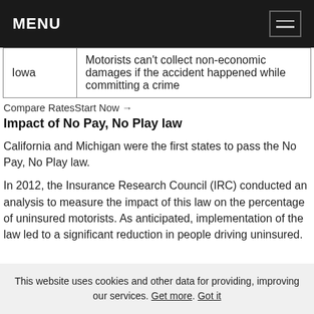MENU
| State | Rule |
| --- | --- |
| Iowa | Motorists can't collect non-economic damages if the accident happened while committing a crime |
Compare RatesStart Now →
Impact of No Pay, No Play law
California and Michigan were the first states to pass the No Pay, No Play law.
In 2012, the Insurance Research Council (IRC) conducted an analysis to measure the impact of this law on the percentage of uninsured motorists. As anticipated, implementation of the law led to a significant reduction in people driving uninsured.
This website uses cookies and other data for providing, improving our services. Get more. Got it